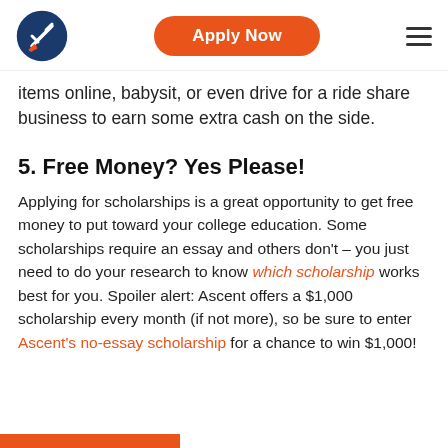Apply Now
items online, babysit, or even drive for a ride share business to earn some extra cash on the side.
5. Free Money? Yes Please!
Applying for scholarships is a great opportunity to get free money to put toward your college education. Some scholarships require an essay and others don't – you just need to do your research to know which scholarship works best for you. Spoiler alert: Ascent offers a $1,000 scholarship every month (if not more), so be sure to enter Ascent's no-essay scholarship for a chance to win $1,000!